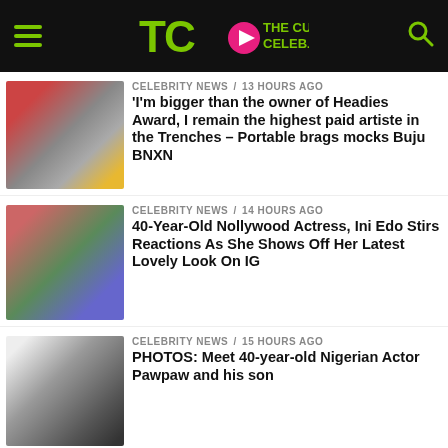TheCuteCeleb.com
CELEBRITY NEWS / 13 hours ago
'I'm bigger than the owner of Headies Award, I remain the highest paid artiste in the Trenches – Portable brags mocks Buju BNXN
CELEBRITY NEWS / 14 hours ago
40-Year-Old Nollywood Actress, Ini Edo Stirs Reactions As She Shows Off Her Latest Lovely Look On IG
CELEBRITY NEWS / 15 hours ago
PHOTOS: Meet 40-year-old Nigerian Actor Pawpaw and his son
MORE LATEST CELEBRITY NEWS
MUSIC RELEASES